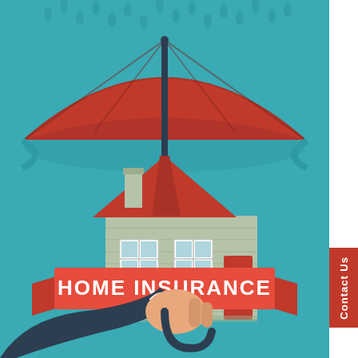[Figure (illustration): Home insurance illustration: a hand in a business suit holding a red umbrella, sheltering a house from rain, with a red ribbon banner reading HOME INSURANCE. Teal/blue-green background with rain drops.]
HOME INSURANCE
Contact Us